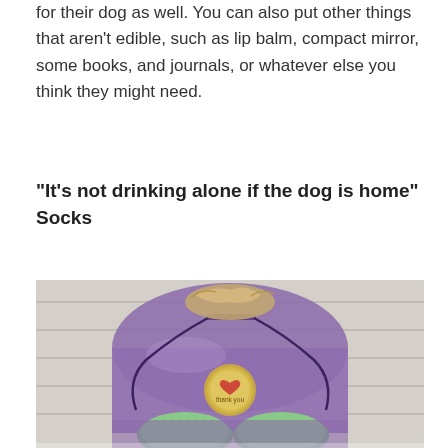for their dog as well. You can also put other things that aren't edible, such as lip balm, compact mirror, some books, and journals, or whatever else you think they might need.
"It's not drinking alone if the dog is home" Socks
[Figure (photo): A purple drawstring organza bag with two green sparkly socks visible at the bottom, and a gold circular label/sticker in the center of the bag. The bag is placed on a white wooden surface. There is raffia or natural fiber material peeking out of the top of the bag.]